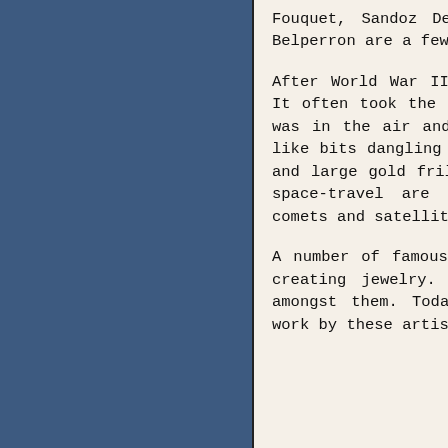Fouquet, Sandoz Despres, Coco Channel and Suzanne Belperron are a few that stand out.
After World War II, jewelry got bigger and bolder. It often took the form of miniature sculptures. Fun was in the air and we see little humorous gestures like bits dangling from rings, asymmetrical brooches and large gold frills. The new world of science and space-travel are also reflected in jewelry with comets and satellites.
A number of famous fine artists put their hands to creating jewelry. George Braque and Pablo Picasso amongst them. Today, there are people who collect work by these artists.